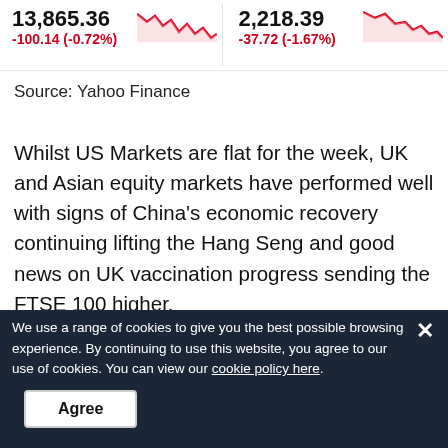[Figure (screenshot): Two stock ticker blocks showing 13,865.36 down -100.14 (-0.72%) and 2,218.39 down -37.72 (-1.67%) with red sparkline charts, from Yahoo Finance]
Source: Yahoo Finance
Whilst US Markets are flat for the week, UK and Asian equity markets have performed well with signs of China's economic recovery continuing lifting the Hang Seng and good news on UK vaccination progress sending the FTSE 100 higher.
[Figure (screenshot): Dark stock data table bar showing stock market data row]
We use a range of cookies to give you the best possible browsing experience. By continuing to use this website, you agree to our use of cookies. You can view our cookie policy here.